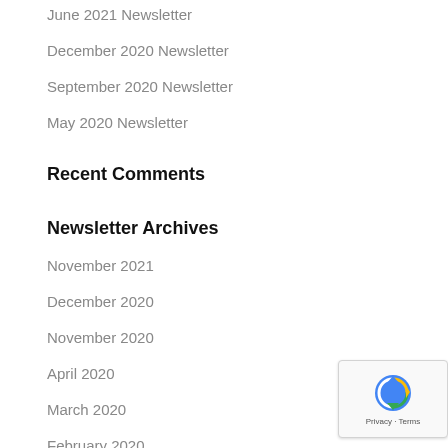June 2021 Newsletter
December 2020 Newsletter
September 2020 Newsletter
May 2020 Newsletter
Recent Comments
Newsletter Archives
November 2021
December 2020
November 2020
April 2020
March 2020
February 2020
January 2020